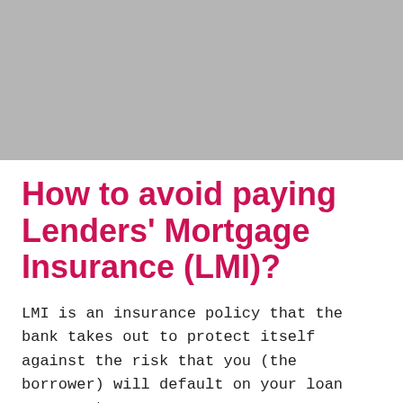[Figure (photo): Gray rectangular image placeholder at the top of the page]
How to avoid paying Lenders' Mortgage Insurance (LMI)?
LMI is an insurance policy that the bank takes out to protect itself against the risk that you (the borrower) will default on your loan repayment